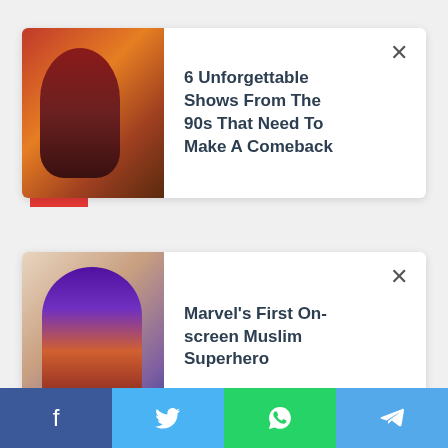[Figure (screenshot): News article card 1: thumbnail of an action scene (fiery background with armored female figure) with headline '6 Unforgettable Shows From The 90s That Need To Make A Comeback' and a close button (×)]
6 Unforgettable Shows From The 90s That Need To Make A Comeback
[Figure (screenshot): News article card 2: thumbnail of a person with blue/purple hair and glowing effect with headline 'Marvel’s First On-screen Muslim Superhero' and a close button (×)]
Marvel’s First On-screen Muslim Superhero
[Figure (infographic): Social share bar at bottom with four buttons: Facebook (blue), Twitter (light blue), WhatsApp (green), Telegram (blue)]